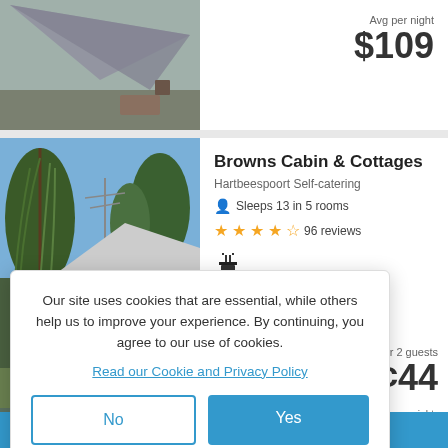[Figure (photo): Top listing photo showing a grey sail shade over an outdoor patio area]
Avg per night
$109
[Figure (photo): Browns Cabin & Cottages photo showing a weeping willow tree and a cottage building]
Browns Cabin & Cottages
Hartbeespoort Self-catering
Sleeps 13 in 5 rooms
96 reviews
Avg per night for 2 guests
¢44
Our site uses cookies that are essential, while others help us to improve your experience. By continuing, you agree to our use of cookies.
Read our Cookie and Privacy Policy
No
Yes
[Figure (photo): Third listing photo showing a water feature/pool area with trees]
Avg per night
$82
Filters